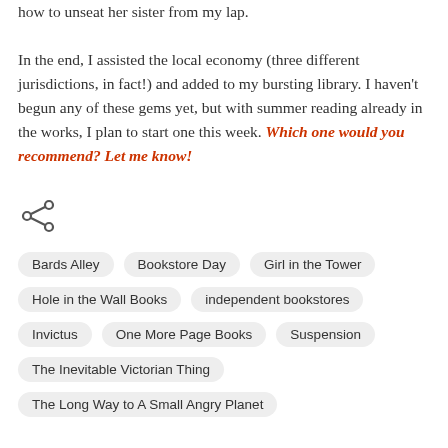how to unseat her sister from my lap.

In the end, I assisted the local economy (three different jurisdictions, in fact!) and added to my bursting library. I haven't begun any of these gems yet, but with summer reading already in the works, I plan to start one this week. Which one would you recommend? Let me know!
[Figure (other): Share icon (less-than arrow symbol for sharing)]
Bards Alley
Bookstore Day
Girl in the Tower
Hole in the Wall Books
independent bookstores
Invictus
One More Page Books
Suspension
The Inevitable Victorian Thing
The Long Way to A Small Angry Planet